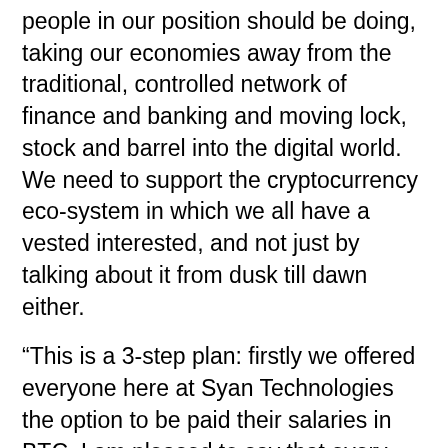people in our position should be doing, taking our economies away from the traditional, controlled network of finance and banking and moving lock, stock and barrel into the digital world. We need to support the cryptocurrency eco-system in which we all have a vested interested, and not just by talking about it from dusk till dawn either.
“This is a 3-step plan: firstly we offered everyone here at Syan Technologies the option to be paid their salaries in BTC. I am pleased to say that every single person accepted and we are putting this into practice as of January 2018. Secondly we are trying to encourage our customers to pay in digital currency as opposed to US Dollars or Euros. With this in mind we have added Litecoin and Bitcoin cash to our list of accepted currencies, and to put our customers’ minds at rest we also offer the option of paying with the same cryptocurrencies via an